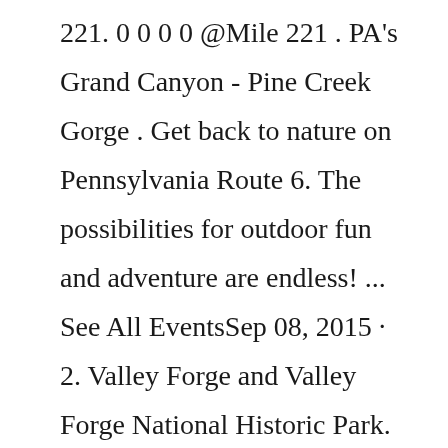221. 0 0 0 0 @Mile 221 . PA's Grand Canyon - Pine Creek Gorge . Get back to nature on Pennsylvania Route 6. The possibilities for outdoor fun and adventure are endless! ... See All EventsSep 08, 2015 · 2. Valley Forge and Valley Forge National Historic Park. When the British razed this supply centre in 1777, it led to 2000 casualties on the American side due to hunger, disease and exposure. Valley Forge tells the story through tours, exhibits and